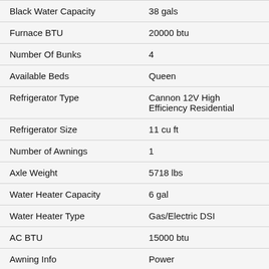| Specification | Value |
| --- | --- |
| Black Water Capacity | 38 gals |
| Furnace BTU | 20000 btu |
| Number Of Bunks | 4 |
| Available Beds | Queen |
| Refrigerator Type | Cannon 12V High Efficiency Residential |
| Refrigerator Size | 11 cu ft |
| Number of Awnings | 1 |
| Axle Weight | 5718 lbs |
| Water Heater Capacity | 6 gal |
| Water Heater Type | Gas/Electric DSI |
| AC BTU | 15000 btu |
| Awning Info | Power |
| Axle Count | 2 |